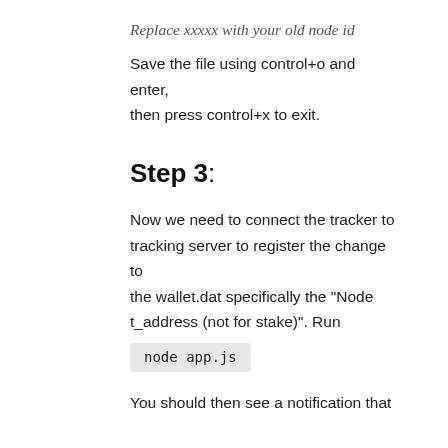Replace xxxxx with your old node id
Save the file using control+o and enter, then press control+x to exit.
Step 3:
Now we need to connect the tracker to tracking server to register the change to the wallet.dat specifically the "Node t_address (not for stake)". Run
node app.js
You should then see a notification that